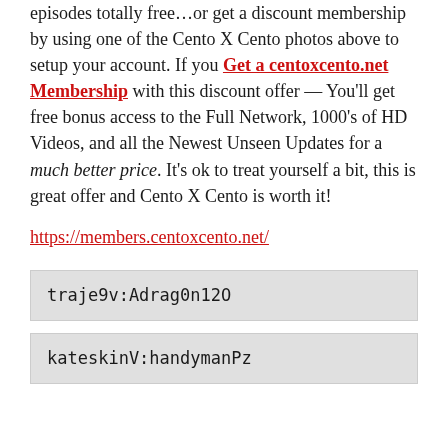episodes totally free…or get a discount membership by using one of the Cento X Cento photos above to setup your account. If you Get a centoxcento.net Membership with this discount offer — You'll get free bonus access to the Full Network, 1000's of HD Videos, and all the Newest Unseen Updates for a much better price. It's ok to treat yourself a bit, this is great offer and Cento X Cento is worth it!
https://members.centoxcento.net/
traje9v:Adrag0n12O
kateskinV:handymanPz